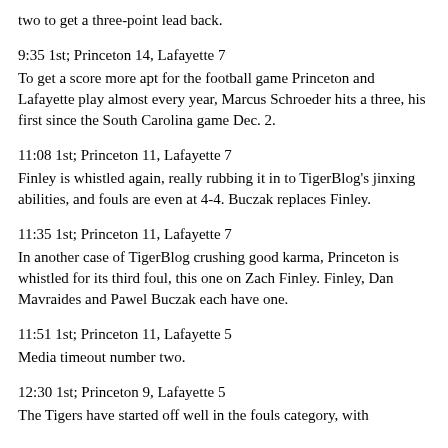two to get a three-point lead back.
9:35 1st; Princeton 14, Lafayette 7
To get a score more apt for the football game Princeton and Lafayette play almost every year, Marcus Schroeder hits a three, his first since the South Carolina game Dec. 2.
11:08 1st; Princeton 11, Lafayette 7
Finley is whistled again, really rubbing it in to TigerBlog's jinxing abilities, and fouls are even at 4-4. Buczak replaces Finley.
11:35 1st; Princeton 11, Lafayette 7
In another case of TigerBlog crushing good karma, Princeton is whistled for its third foul, this one on Zach Finley. Finley, Dan Mavraides and Pawel Buczak each have one.
11:51 1st; Princeton 11, Lafayette 5
Media timeout number two.
12:30 1st; Princeton 9, Lafayette 5
The Tigers have started off well in the fouls category, with